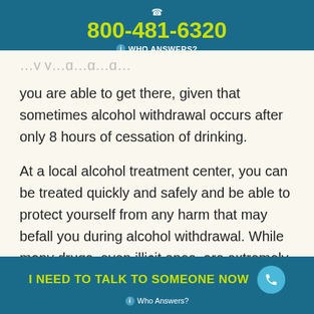800-481-6320 WHO ANSWERS?
you are able to get there, given that sometimes alcohol withdrawal occurs after only 8 hours of cessation of drinking.
At a local alcohol treatment center, you can be treated quickly and safely and be able to protect yourself from any harm that may befall you during alcohol withdrawal. While many drugs, even illicit ones, are extremely dangerous and cause intense withdrawal syndromes, the possibility for alcohol withdrawal death is extremely high in many cases and should not be risked. This way,
I NEED TO TALK TO SOMEONE NOW  Who Answers?